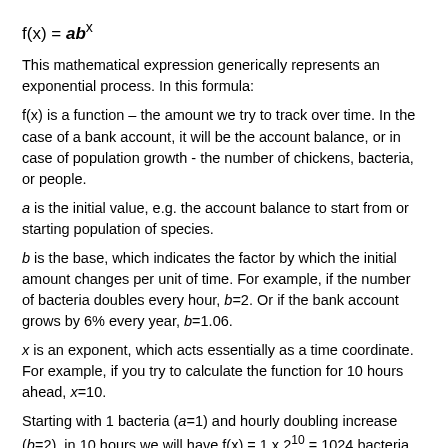This mathematical expression generically represents an exponential process. In this formula:
f(x) is a function – the amount we try to track over time. In the case of a bank account, it will be the account balance, or in case of population growth - the number of chickens, bacteria, or people.
a is the initial value, e.g. the account balance to start from or starting population of species.
b is the base, which indicates the factor by which the initial amount changes per unit of time. For example, if the number of bacteria doubles every hour, b=2. Or if the bank account grows by 6% every year, b=1.06.
x is an exponent, which acts essentially as a time coordinate. For example, if you try to calculate the function for 10 hours ahead, x=10.
Starting with 1 bacteria (a=1) and hourly doubling increase (b=2), in 10 hours we will have f(x) = 1 x 2^10 = 1024 bacteria.